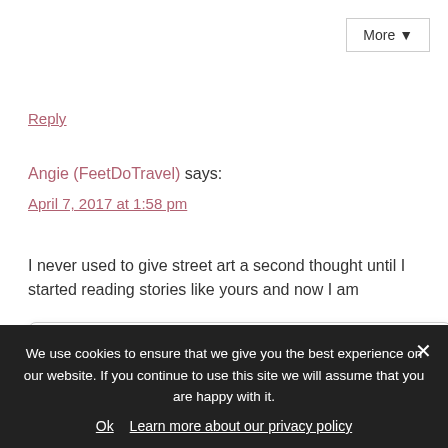More ▼
Reply
Angie (FeetDoTravel) says:
April 7, 2017 at 1:58 pm
I never used to give street art a second thought until I started reading stories like yours and now I am
Follow me on:
Or sign up to my newsletter
We use cookies to ensure that we give you the best experience on our website. If you continue to use this site we will assume that you are happy with it.
Ok
Learn more about our privacy policy